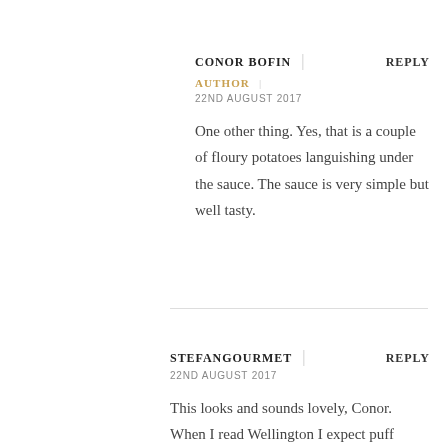CONOR BOFIN | REPLY
AUTHOR |
22ND AUGUST 2017
One other thing. Yes, that is a couple of floury potatoes languishing under the sauce. The sauce is very simple but well tasty.
STEFANGOURMET | REPLY
22ND AUGUST 2017
This looks and sounds lovely, Conor. When I read Wellington I expect puff pastry, but this is even better. We were supposed to have (local) Sardinian maialino (suckling pig) tonight, but the restaurant couldn’t source them fresh.